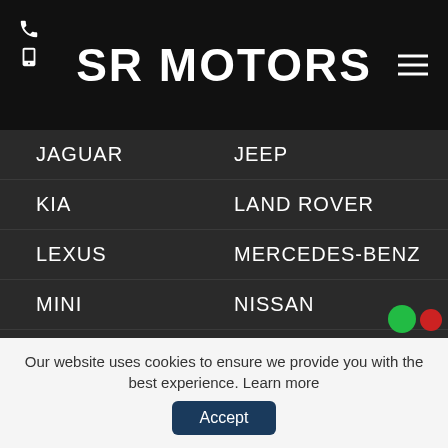SR MOTORS
JAGUAR
JEEP
KIA
LAND ROVER
LEXUS
MERCEDES-BENZ
MINI
NISSAN
PEUGEOT
PORSCHE
RENAULT
SKODA
SMART
SUBARU
SUZUKI
TOYOTA
VAUXHALL
VOLKSWAGEN
Our website uses cookies to ensure we provide you with the best experience. Learn more  Accept